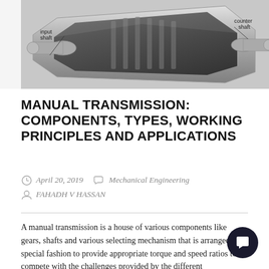[Figure (engineering-diagram): Technical diagram of a manual transmission showing input shaft and counter shaft components, with labels pointing to each part. The image is partially cropped at the top.]
MANUAL TRANSMISSION: COMPONENTS, TYPES, WORKING PRINCIPLES AND APPLICATIONS
April 20, 2019   Mechanical Engineering   FAHADH V HASSAN
A manual transmission is a house of various components like gears, shafts and various selecting mechanism that is arranged in special fashion to provide appropriate torque and speed ratios to compete with the challenges provided by the different